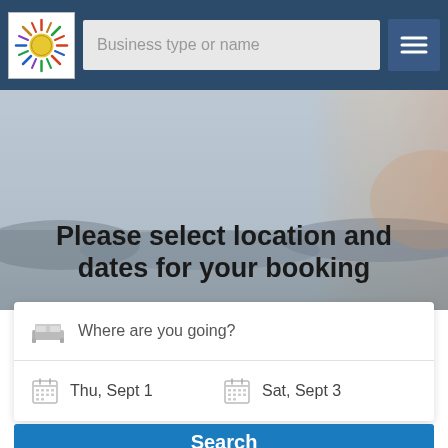Business type or name
[Figure (screenshot): Hero background photo showing a scenic location with sunset/coastal tones]
Please select location and dates for your booking
Where are you going?
Thu, Sept 1
Sat, Sept 3
Search